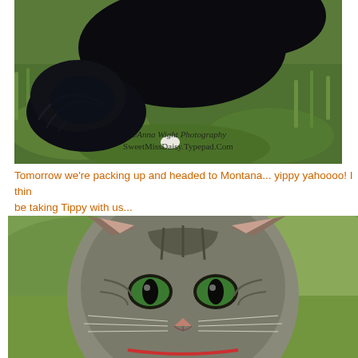[Figure (photo): Black long-haired cat sitting on green grass, showing fluffy tail and back. Watermark text reads '©Anna Wight Photography SweetMissDaisy.Typepad.Com']
Tomorrow we're packing up and headed to Montana... yippy yahoooo! I think we'll be taking Tippy with us...
[Figure (photo): Close-up portrait of a tabby cat with green eyes, gray and black striped fur, looking directly at camera against a blurred green background.]